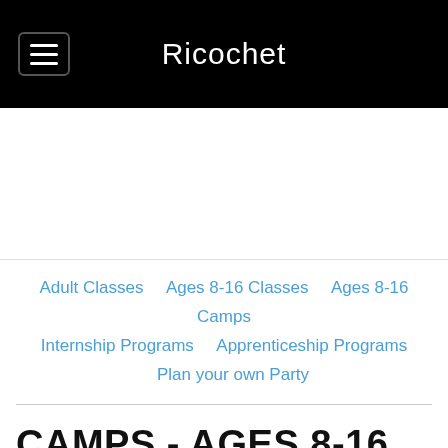Ricochet
[Figure (other): Advertisement or promotional image placeholder area (white/blank)]
Adult Classes    Ages 8-16 Classes    Ages 8-16 Camps    Internship Programs    Apprenticeship Programs    Plan your own Party
CAMPS - AGES 8-16
Let's express our inner artists and have fun with the environment in mind! Ricochet is an entertaining studio where students learn how to design and create their own garments and accessories and learn to use their sewing